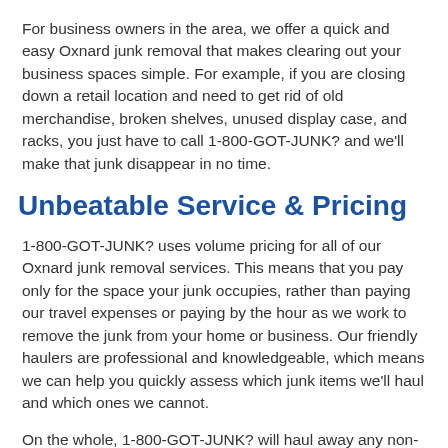For business owners in the area, we offer a quick and easy Oxnard junk removal that makes clearing out your business spaces simple. For example, if you are closing down a retail location and need to get rid of old merchandise, broken shelves, unused display case, and racks, you just have to call 1-800-GOT-JUNK? and we'll make that junk disappear in no time.
Unbeatable Service & Pricing
1-800-GOT-JUNK? uses volume pricing for all of our Oxnard junk removal services. This means that you pay only for the space your junk occupies, rather than paying our travel expenses or paying by the hour as we work to remove the junk from your home or business. Our friendly haulers are professional and knowledgeable, which means we can help you quickly assess which junk items we'll haul and which ones we cannot.
On the whole, 1-800-GOT-JUNK? will haul away any non-toxic items that a two-man crew can safely lift and carry. This includes